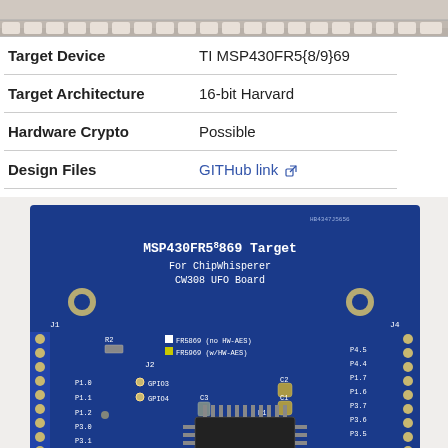[Figure (photo): Top portion of a PCB or hardware device, cropped at top edge]
| Target Device | TI MSP430FR5{8/9}69 |
| Target Architecture | 16-bit Harvard |
| Hardware Crypto | Possible |
| Design Files | GITHub link [external link icon] |
[Figure (photo): Photo of MSP430FR5869 Target board for ChipWhisperer CW308 UFO Board — a blue PCB with headers, chip U1, components C1, C2, C3, R1, R2, R3, connectors J1, J2, J4, and pin labels P1.0–P4.7]